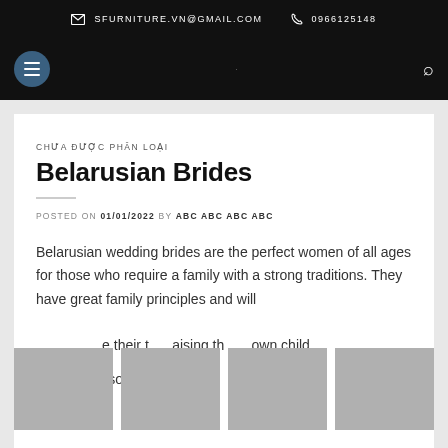SFURNITURE.VN@GMAIL.COM  0966125148
CHƯA ĐƯỢC PHÂN LOẠI
Belarusian Brides
POSTED ON 01/01/2022 BY ABC ABC ABC ABC
Belarusian wedding brides are the perfect women of all ages for those who require a family with a strong traditions. They have great family principles and will [...]e their t[...] raising th[...] own chil[...] [...]hey will also [...]dependently fo[...][...] husbands [...]